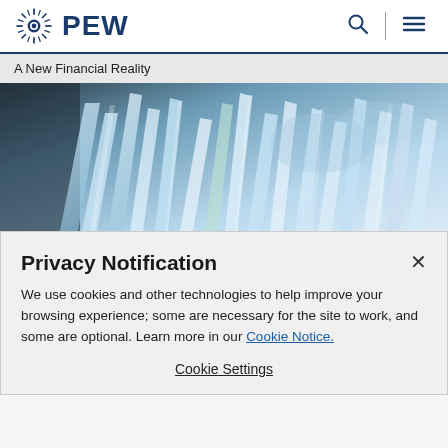PEW
A New Financial Reality
[Figure (photo): Close-up photo of clear blue-white crystal formations or icicles against a dark background.]
Privacy Notification
We use cookies and other technologies to help improve your browsing experience; some are necessary for the site to work, and some are optional. Learn more in our Cookie Notice.
Cookie Settings